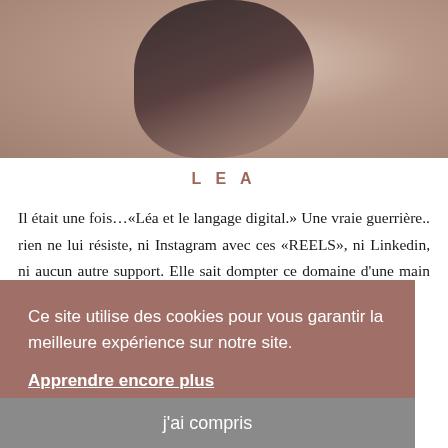[Figure (photo): Cropped photo of a person wearing a dark top and light beige/pink pants, sitting or reclining, showing torso and arms]
L E A
Il était une fois…«Léa et le langage digital.» Une vraie guerrière.. rien ne lui résiste, ni Instagram avec ces «REELS», ni Linkedin, ni aucun autre support. Elle sait dompter ce domaine d'une main de maître. Cette Lilloise au cœur généreux et aux … éritable
Ce site utilise des cookies pour vous garantir la meilleure expérience sur notre site.
Apprendre encore plus
j'ai compris